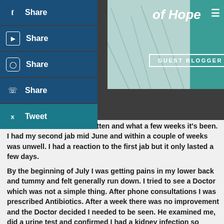[Figure (screenshot): Website header with teal 'of Hope' title, GUEST BLOGGER label, needle/syringe image in background, dark gray bar across bottom of header]
[Figure (infographic): Social media sharing sidebar with Facebook, YouTube, Instagram, WhatsApp, and Twitter share/tweet buttons in dark blue and teal colors]
everal weeks since I've written and what a few weeks it's been. I had my second jab mid June and within a couple of weeks was unwell. I had a reaction to the first jab but it only lasted a few days.
By the beginning of July I was getting pains in my lower back and tummy and felt generally run down. I tried to see a Doctor which was not a simple thing. After phone consultations I was prescribed Antibiotics. After a week there was no improvement and the Doctor decided I needed to be seen. He examined me, did a urine test and confirmed I had a kidney infection so further antibiotics were given and I was sent for blood tests.
After a few more days I was getting worse. Back to the